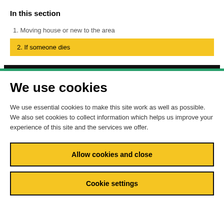In this section
1. Moving house or new to the area
2. If someone dies
We use cookies
We use essential cookies to make this site work as well as possible. We also set cookies to collect information which helps us improve your experience of this site and the services we offer.
Allow cookies and close
Cookie settings